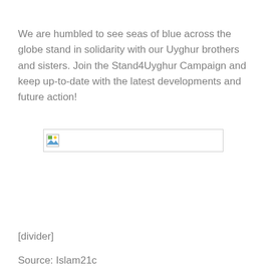We are humbled to see seas of blue across the globe stand in solidarity with our Uyghur brothers and sisters. Join the Stand4Uyghur Campaign and keep up-to-date with the latest developments and future action!
[Figure (other): Broken image placeholder — a small image icon with a border indicating a missing/unloaded image]
[divider]
Source: Islam21c